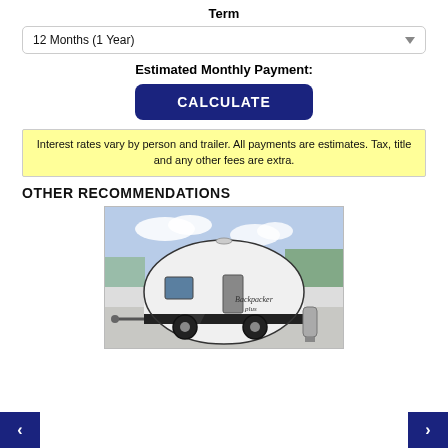Term
12 Months (1 Year)
Estimated Monthly Payment:
CALCULATE
Interest rates vary by person and trailer. All payments are estimates. Tax, title and any other fees are extra.
OTHER RECOMMENDATIONS
[Figure (photo): A white teardrop-style travel trailer (Backpacker Plus) parked on a driveway with trees in the background.]